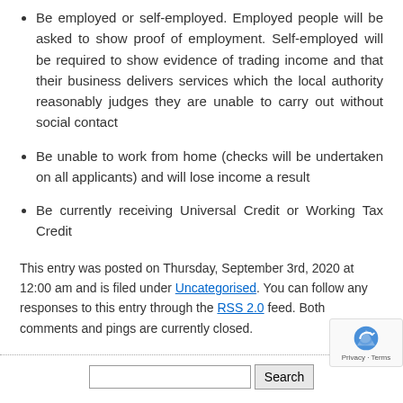Be employed or self-employed. Employed people will be asked to show proof of employment. Self-employed will be required to show evidence of trading income and that their business delivers services which the local authority reasonably judges they are unable to carry out without social contact
Be unable to work from home (checks will be undertaken on all applicants) and will lose income a result
Be currently receiving Universal Credit or Working Tax Credit
This entry was posted on Thursday, September 3rd, 2020 at 12:00 am and is filed under Uncategorised. You can follow any responses to this entry through the RSS 2.0 feed. Both comments and pings are currently closed.